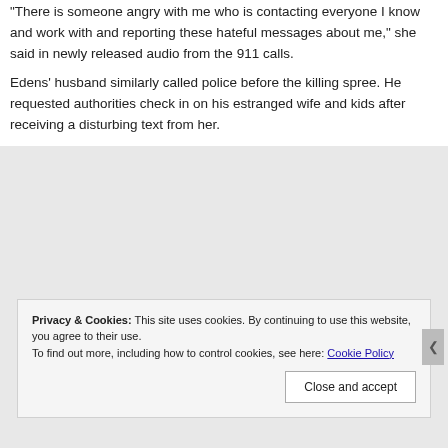"There is someone angry with me who is contacting everyone I know and work with and reporting these hateful messages about me," she said in newly released audio from the 911 calls. Edens' husband similarly called police before the killing spree. He requested authorities check in on his estranged wife and kids after receiving a disturbing text from her.
Privacy & Cookies: This site uses cookies. By continuing to use this website, you agree to their use. To find out more, including how to control cookies, see here: Cookie Policy